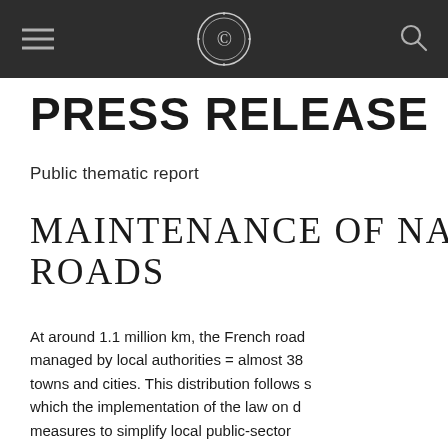PRESS RELEASE
Public thematic report
MAINTENANCE OF NATIONAL ROADS
At around 1.1 million km, the French road network managed by local authorities = almost 38... towns and cities. This distribution follows s... which the implementation of the law on d... measures to simplify local public-sector...